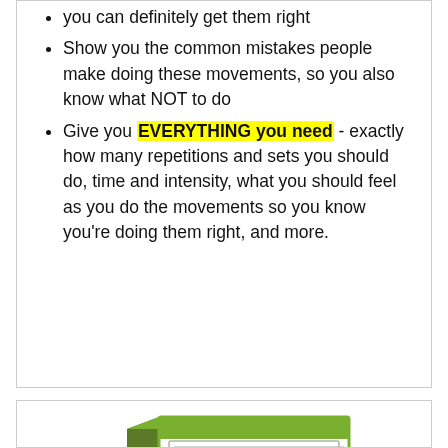you can definitely get them right
Show you the common mistakes people make doing these movements, so you also know what NOT to do
Give you EVERYTHING you need - exactly how many repetitions and sets you should do, time and intensity, what you should feel as you do the movements so you know you're doing them right, and more.
[Figure (illustration): Book cover image showing '10 Easy Movements for Stronger Shoulders' with green and white design, partially cropped at bottom]